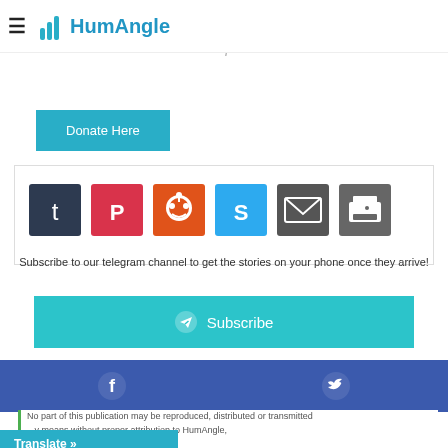HumAngle
further promote a robust, free, and independent media.
Donate Here
[Figure (infographic): Social share icons: Tumblr, Pinterest, Reddit, Skype, Email, Print]
Subscribe to our telegram channel to get the stories on your phone once they arrive!
Subscribe
[Figure (infographic): Social bar with Facebook and Twitter icons in blue]
No part of this publication may be reproduced, distributed or transmitted in any means without proper attribution to HumAngle,
Translate »